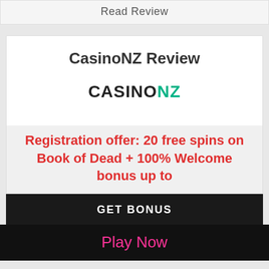Read Review
CasinoNZ Review
[Figure (logo): CasinoNZ logo text with CASINO in black and NZ in teal/green]
Registration offer: 20 free spins on Book of Dead + 100% Welcome bonus up to
GET BONUS
Play Now